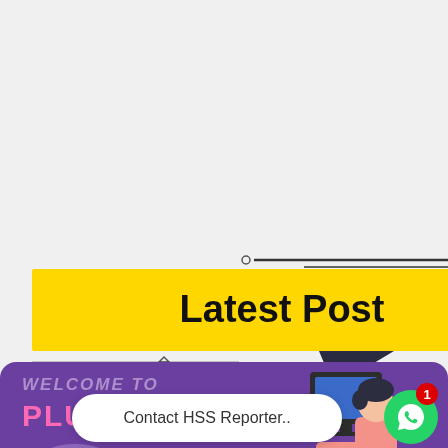[Figure (illustration): Speech bubble graphic with yellow rectangle labeled 'Latest Post' with dark triangular pointer and decorative lines around it, on a light gray background]
[Figure (illustration): Purple banner for 'Plus One Science' website with student at computer illustration, cloud decorations, WhatsApp contact button with notification badge '1', and a white pill-shaped label reading 'Contact HSS Reporter..']